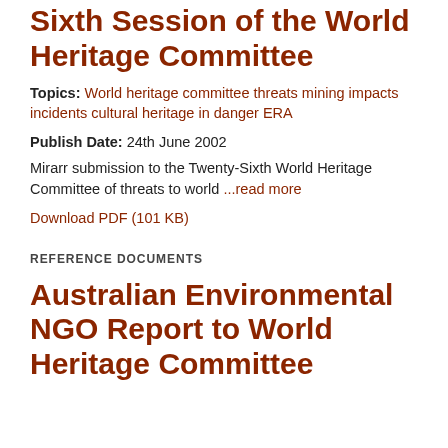Sixth Session of the World Heritage Committee
Topics: World heritage committee threats mining impacts incidents cultural heritage in danger ERA
Publish Date: 24th June 2002
Mirarr submission to the Twenty-Sixth World Heritage Committee of threats to world ...read more
Download PDF (101 KB)
REFERENCE DOCUMENTS
Australian Environmental NGO Report to World Heritage Committee